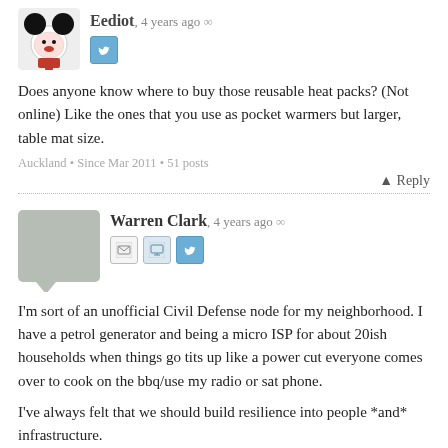[Figure (illustration): User avatar: Mickey Mouse style avatar image with red and black coloring]
Eediot, 4 years ago ∞
[Figure (illustration): Twitter bird icon button]
Does anyone know where to buy those reusable heat packs? (Not online) Like the ones that you use as pocket warmers but larger, table mat size.
Auckland • Since Mar 2011 • 51 posts
Reply
[Figure (illustration): Grey speech bubble placeholder avatar for Warren Clark]
Warren Clark, 4 years ago ∞
[Figure (illustration): Email, monitor, and Twitter icon buttons]
I'm sort of an unofficial Civil Defense node for my neighborhood. I have a petrol generator and being a micro ISP for about 20ish households when things go tits up like a power cut everyone comes over to cook on the bbq/use my radio or sat phone.
I've always felt that we should build resilience into people *and* infrastructure.
My disaster plan is ... silly redundant.